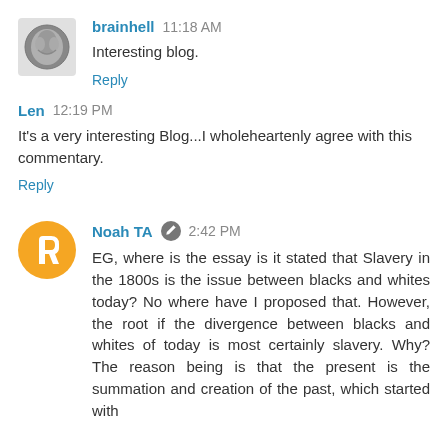[Figure (photo): Avatar image of brainhell - appears to be an MRI brain scan]
brainhell 11:18 AM
Interesting blog.
Reply
Len 12:19 PM
It's a very interesting Blog...I wholeheartenly agree with this commentary.
Reply
[Figure (logo): Orange circle Blogger avatar icon with white B letter]
Noah TA  2:42 PM
EG, where is the essay is it stated that Slavery in the 1800s is the issue between blacks and whites today? No where have I proposed that. However, the root if the divergence between blacks and whites of today is most certainly slavery. Why? The reason being is that the present is the summation and creation of the past, which started with